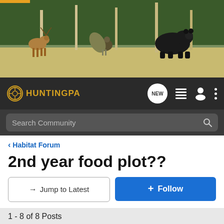[Figure (photo): Banner photo showing a deer, turkey, and black bear in a field with trees in background]
HuntingPA — Navigation bar with NEW, menu, profile, and options icons, and Search Community bar
< Habitat Forum
2nd year food plot??
→ Jump to Latest   ⊕ Follow
1 - 8 of 8 Posts
pabowhuntR · Registered 🇺🇸
Joined Apr 28, 2008 · 570 Posts